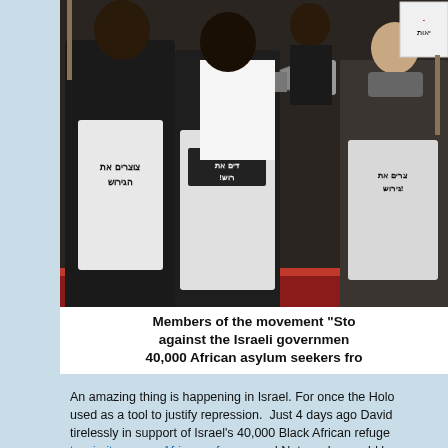[Figure (photo): Protesters wearing white t-shirts with Hebrew text, holding signs and a megaphone, demonstrating against the Israeli government's plan to deport African asylum seekers.]
Members of the movement "Sto against the Israeli governmen 40,000 African asylum seekers fro
An amazing thing is happening in Israel. For once the Holo used as a tool to justify repression.  Just 4 days ago David tirelessly in support of Israel's 40,000 Black African refuge to win its war on African refugees and Netanyahu would be